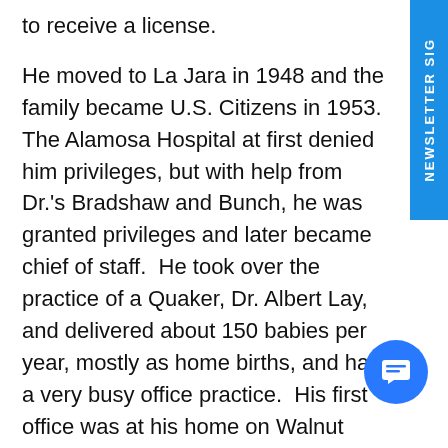to receive a license.
He moved to La Jara in 1948 and the family became U.S. Citizens in 1953.  The Alamosa Hospital at first denied him privileges, but with help from Dr.'s Bradshaw and Bunch, he was granted privileges and later became chief of staff.  He took over the practice of a Quaker, Dr. Albert Lay, and delivered about 150 babies per year, mostly as home births, and had a very busy office practice.  His first office was at his home on Walnut Street. He later had an office next to the La Jara Gazetter newspaper and that office burnt down.  His last office was on Main Street near the school.  The family still considers La Jara their home and the community has fond memories of the family.  Elizabeth never forgave the